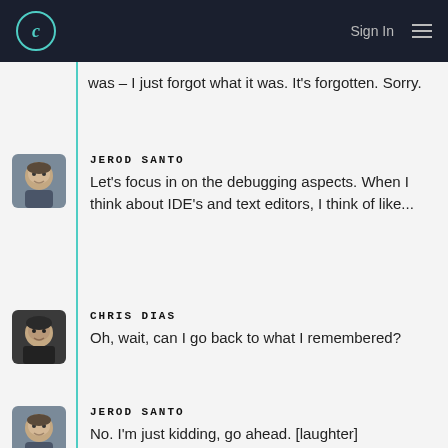C  Sign In  ☰
was – I just forgot what it was. It's forgotten. Sorry.
JEROD SANTO
Let's focus in on the debugging aspects. When I think about IDE's and text editors, I think of like...
CHRIS DIAS
Oh, wait, can I go back to what I remembered?
JEROD SANTO
No. I'm just kidding, go ahead. [laughter]